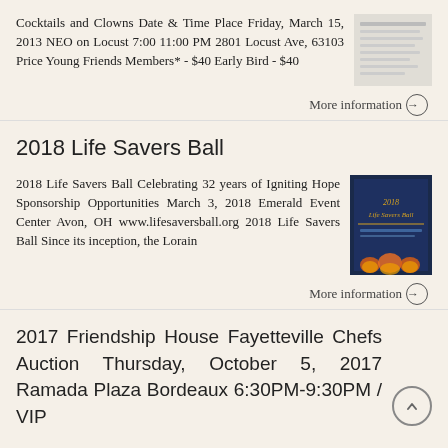Cocktails and Clowns Date & Time Place Friday, March 15, 2013 NEO on Locust 7:00 11:00 PM 2801 Locust Ave, 63103 Price Young Friends Members* - $40 Early Bird - $40
More information →
2018 Life Savers Ball
2018 Life Savers Ball Celebrating 32 years of Igniting Hope Sponsorship Opportunities March 3, 2018 Emerald Event Center Avon, OH www.lifesaversball.org 2018 Life Savers Ball Since its inception, the Lorain
More information →
2017 Friendship House Fayetteville Chefs Auction Thursday, October 5, 2017 Ramada Plaza Bordeaux 6:30PM-9:30PM / VIP